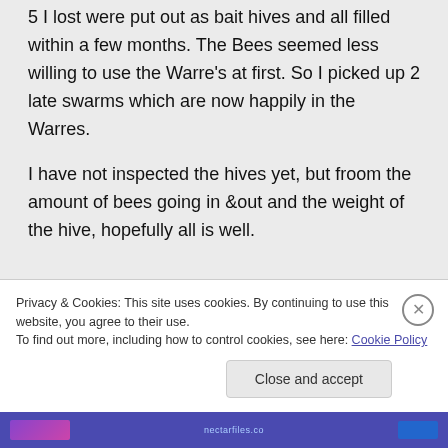5 I lost were put out as bait hives and all filled within a few months. The Bees seemed less willing to use the Warre's at first. So I picked up 2 late swarms which are now happily in the Warres.

I have not inspected the hives yet, but froom the amount of bees going in &out and the weight of the hive, hopefully all is well.
Privacy & Cookies: This site uses cookies. By continuing to use this website, you agree to their use. To find out more, including how to control cookies, see here: Cookie Policy
Close and accept